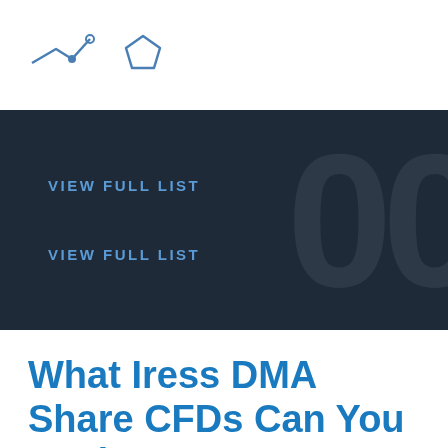[line chart icon] [pentagon icon]
VIEW FULL LIST
VIEW FULL LIST
What Iress DMA Share CFDs Can You Trade?
DMA Share CFD Count Per Exchange